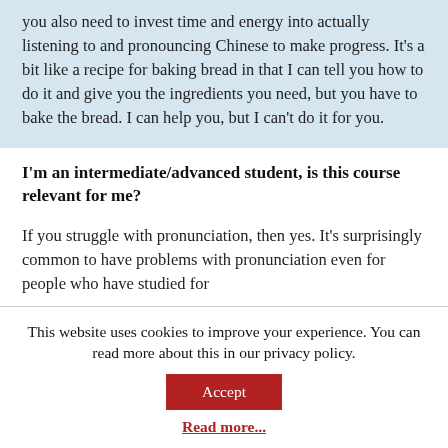you also need to invest time and energy into actually listening to and pronouncing Chinese to make progress. It's a bit like a recipe for baking bread in that I can tell you how to do it and give you the ingredients you need, but you have to bake the bread. I can help you, but I can't do it for you.
I'm an intermediate/advanced student, is this course relevant for me?
If you struggle with pronunciation, then yes. It's surprisingly common to have problems with pronunciation even for people who have studied for
This website uses cookies to improve your experience. You can read more about this in our privacy policy.
Accept
Read more...